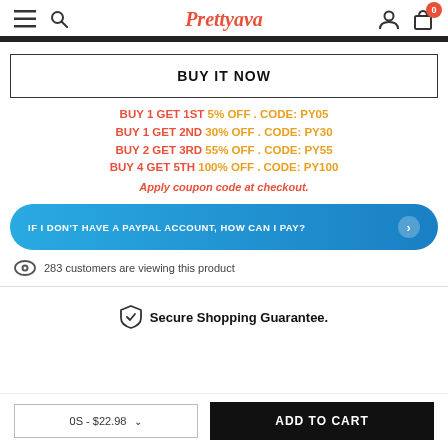Prettyava
BUY IT NOW
BUY 1 GET 1ST 5% OFF . CODE: PY05
BUY 1 GET 2ND 30% OFF . CODE: PY30
BUY 2 GET 3RD 55% OFF . CODE: PY55
BUY 4 GET 5TH 100% OFF . CODE: PY100
Apply coupon code at checkout.
IF I DON'T HAVE A PAYPAL ACCOUNT, HOW CAN I PAY?
283 customers are viewing this product
Secure Shopping Guarantee.
0S - $22.98
ADD TO CART